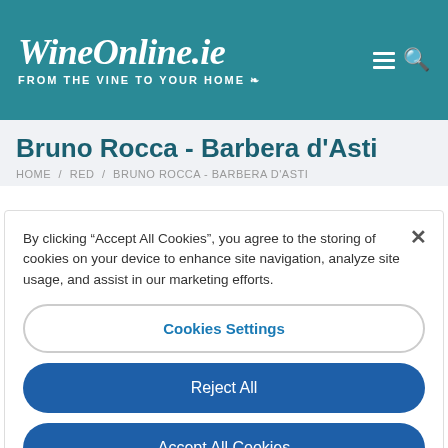[Figure (logo): WineOnline.ie logo with text 'FROM THE VINE TO YOUR HOME' on teal background with hamburger menu and search icon]
Bruno Rocca - Barbera d'Asti
HOME / RED / BRUNO ROCCA - BARBERA D'ASTI
By clicking “Accept All Cookies”, you agree to the storing of cookies on your device to enhance site navigation, analyze site usage, and assist in our marketing efforts.
Cookies Settings
Reject All
Accept All Cookies